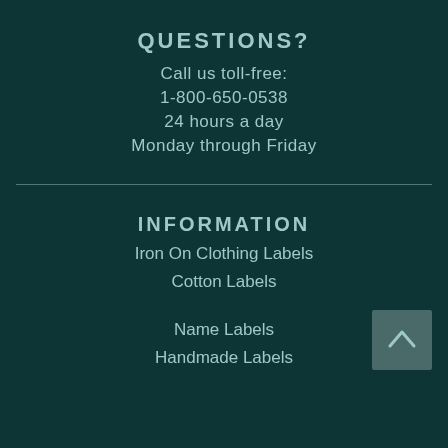QUESTIONS?
Call us toll-free:
1-800-650-0538
24 hours a day
Monday through Friday
INFORMATION
Iron On Clothing Labels
Cotton Labels
Name Labels
Handmade Labels